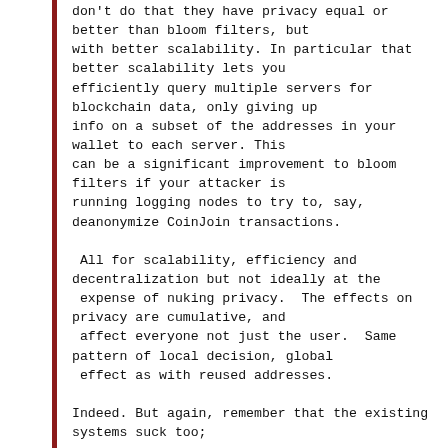don't do that they have privacy equal or better than bloom filters, but with better scalability. In particular that better scalability lets you efficiently query multiple servers for blockchain data, only giving up info on a subset of the addresses in your wallet to each server. This can be a significant improvement to bloom filters if your attacker is running logging nodes to try to, say, deanonymize CoinJoin transactions.

 All for scalability, efficiency and decentralization but not ideally at the  expense of nuking privacy.  The effects on privacy are cumulative, and  affect everyone not just the user.  Same pattern of local decision, global  effect as with reused addresses.

Indeed. But again, remember that the existing systems suck too;